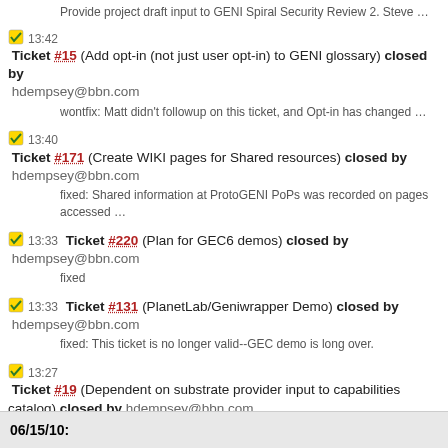Provide project draft input to GENI Spiral Security Review 2. Steve …
13:42 Ticket #15 (Add opt-in (not just user opt-in) to GENI glossary) closed by hdempsey@bbn.com
wontfix: Matt didn't followup on this ticket, and Opt-in has changed …
13:40 Ticket #171 (Create WIKI pages for Shared resources) closed by hdempsey@bbn.com
fixed: Shared information at ProtoGENI PoPs was recorded on pages accessed …
13:33 Ticket #220 (Plan for GEC6 demos) closed by hdempsey@bbn.com
fixed
13:33 Ticket #131 (PlanetLab/Geniwrapper Demo) closed by hdempsey@bbn.com
fixed: This ticket is no longer valid--GEC demo is long over.
13:27 Ticket #19 (Dependent on substrate provider input to capabilities catalog) closed by hdempsey@bbn.com
wontfix: This ticket is no longer valid.
13:20 Ticket #2 (investigate VLAN connectivity to CMU) closed by hdempsey@bbn.com
wontfix
06/15/10: